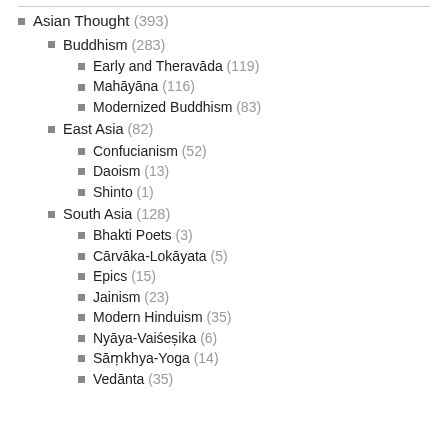Asian Thought (393)
Buddhism (283)
Early and Theravāda (119)
Mahāyāna (116)
Modernized Buddhism (83)
East Asia (82)
Confucianism (52)
Daoism (13)
Shinto (1)
South Asia (128)
Bhakti Poets (3)
Cārvāka-Lokāyata (5)
Epics (15)
Jainism (23)
Modern Hinduism (35)
Nyāya-Vaiśeṣika (6)
Sāṃkhya-Yoga (14)
Vedānta (35)